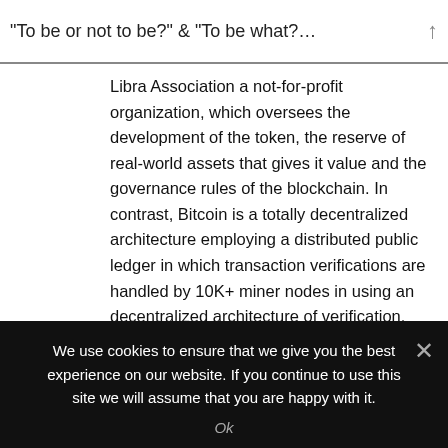“To be or not to be?” & “To be what?…
Libra Association a not-for-profit organization, which oversees the development of the token, the reserve of real-world assets that gives it value and the governance rules of the blockchain. In contrast, Bitcoin is a totally decentralized architecture employing a distributed public ledger in which transaction verifications are handled by 10K+ miner nodes in using an decentralized architecture of verification.
Technology: With Bitcoin, transactions are recorded anonymously on a blockchain based distributed public
We use cookies to ensure that we give you the best experience on our website. If you continue to use this site we will assume that you are happy with it.
Ok